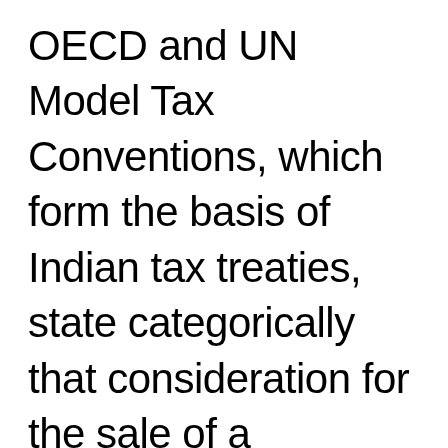OECD and UN Model Tax Conventions, which form the basis of Indian tax treaties, state categorically that consideration for the sale of a copyrighted article did not qualify as